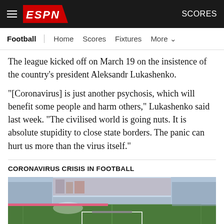ESPN - Football | Home | Scores | Fixtures | More | SCORES
The league kicked off on March 19 on the insistence of the country's president Aleksandr Lukashenko.
"[Coronavirus] is just another psychosis, which will benefit some people and harm others," Lukashenko said last week. "The civilised world is going nuts. It is absolute stupidity to close state borders. The panic can hurt us more than the virus itself."
CORONAVIRUS CRISIS IN FOOTBALL
[Figure (photo): Empty football stadium with sprinklers running on the pitch, stands mostly empty, goal visible in foreground]